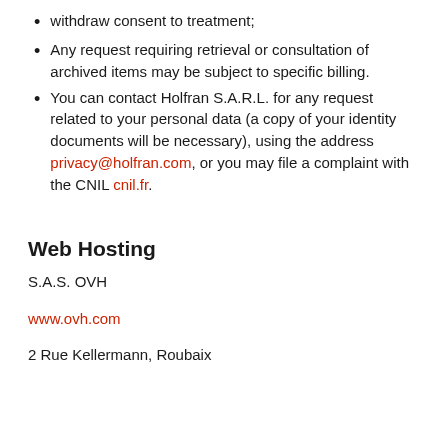withdraw consent to treatment;
Any request requiring retrieval or consultation of archived items may be subject to specific billing.
You can contact Holfran S.A.R.L. for any request related to your personal data (a copy of your identity documents will be necessary), using the address privacy@holfran.com, or you may file a complaint with the CNIL cnil.fr.
Web Hosting
S.A.S. OVH
www.ovh.com
2 Rue Kellermann, Roubaix